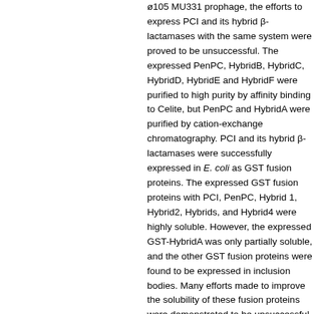ø105 MU331 prophage, the efforts to express PCI and its hybrid β-lactamases with the same system were proved to be unsuccessful. The expressed PenPC, HybridB, HybridC, HybridD, HybridE and HybridF were purified to high purity by affinity binding to Celite, but PenPC and HybridA were purified by cation-exchange chromatography. PCI and its hybrid β-lactamases were successfully expressed in E. coli as GST fusion proteins. The expressed GST fusion proteins with PCI, PenPC, Hybrid1, Hybrid2, Hybrids, and Hybrid4 were highly soluble. However, the expressed GST-HybridA was only partially soluble, and the other GST fusion proteins were found to be expressed in inclusion bodies. Many efforts made to improve the solubility of these fusion proteins were demonstrated to be unsuccessful, including lowering the growth temperature during induction from 37 °C to 20°C, 25°C or 30°C, decreasing IPTG concentration to 0.05 mM, expressing fusion protein in different host